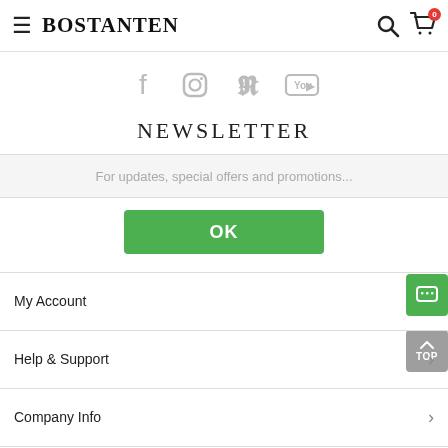BOSTANTEN
[Figure (other): Social media icons: Facebook, Instagram, Pinterest, YouTube]
NEWSLETTER
For updates, special offers and promotions...
OK
My Account
Help & Support
Company Info
International Shipping & Delivery FAQs